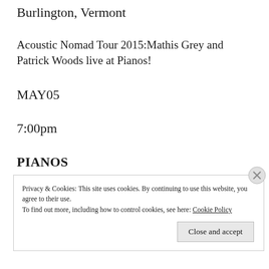Burlington, Vermont
Acoustic Nomad Tour 2015:Mathis Grey and Patrick Woods live at Pianos!
MAY05
7:00pm
PIANOS
New York, New York
Privacy & Cookies: This site uses cookies. By continuing to use this website, you agree to their use.
To find out more, including how to control cookies, see here: Cookie Policy
Close and accept